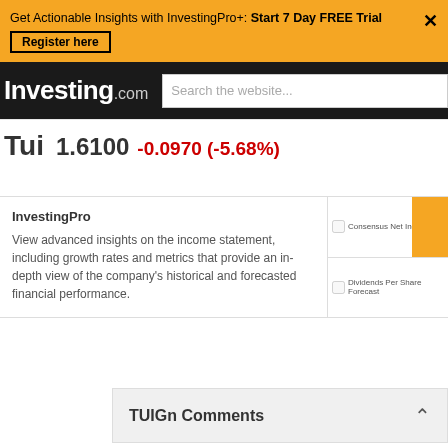Get Actionable Insights with InvestingPro+: Start 7 Day FREE Trial  Register here
Investing.com  Search the website...
Tui  1.6100  -0.0970 (-5.68%)
InvestingPro
View advanced insights on the income statement, including growth rates and metrics that provide an in-depth view of the company's historical and forecasted financial performance.
TUIGn Comments